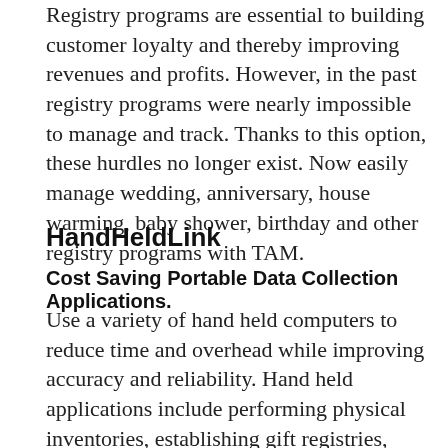Registry programs are essential to building customer loyalty and thereby improving revenues and profits. However, in the past registry programs were nearly impossible to manage and track. Thanks to this option, these hurdles no longer exist. Now easily manage wedding, anniversary, house warming, baby shower, birthday and other registry programs with TAM.
HandHeldLink
Cost Saving Portable Data Collection Applications.
Use a variety of hand held computers to reduce time and overhead while improving accuracy and reliability. Hand held applications include performing physical inventories, establishing gift registries, transferring merchandise between business